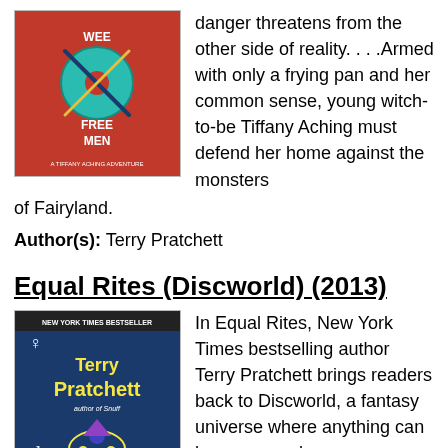[Figure (illustration): Book cover for 'Wee Free Men: A Tiffany Aching Adventure' with red background, showing a button/wheel design with text]
danger threatens from the other side of reality. . . .Armed with only a frying pan and her common sense, young witch-to-be Tiffany Aching must defend her home against the monsters of Fairyland.
Author(s): Terry Pratchett
Equal Rites (Discworld) (2013)
[Figure (illustration): Book cover for 'Equal Rites' by Terry Pratchett, New York Times Bestseller, dark blue background with yellow text and fantasy imagery]
In Equal Rites, New York Times bestselling author Terry Pratchett brings readers back to Discworld, a fantasy universe where anything can happen—and usually does. As his wizard is dying,